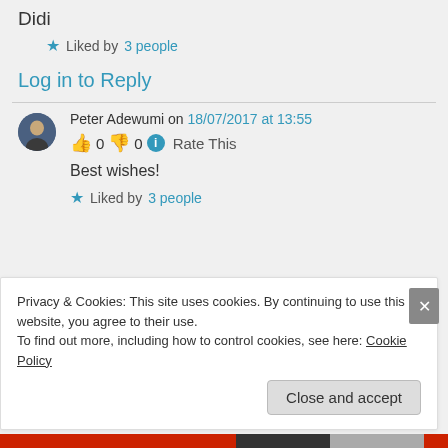Didi
★ Liked by 3 people
Log in to Reply
Peter Adewumi on 18/07/2017 at 13:55
👍 0 👎 0 ℹ Rate This
Best wishes!
★ Liked by 3 people
Privacy & Cookies: This site uses cookies. By continuing to use this website, you agree to their use.
To find out more, including how to control cookies, see here: Cookie Policy
Close and accept